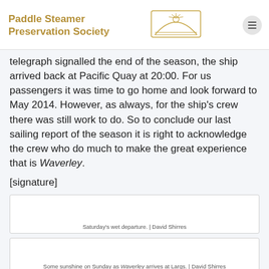Paddle Steamer Preservation Society
telegraph signalled the end of the season, the ship arrived back at Pacific Quay at 20:00. For us passengers it was time to go home and look forward to May 2014. However, as always, for the ship's crew there was still work to do. So to conclude our last sailing report of the season it is right to acknowledge the crew who do much to make the great experience that is Waverley.
[signature]
[Figure (photo): Saturday's wet departure photo placeholder]
Saturday's wet departure. | David Shirres
[Figure (photo): Some sunshine on Sunday as Waverley arrives at Largs photo placeholder]
Some sunshine on Sunday as Waverley arrives at Largs. | David Shirres